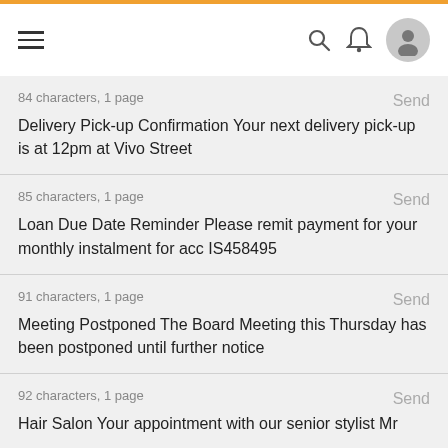Navigation bar with hamburger menu, search, bell, and user avatar icons
84 characters, 1 page
Send
Delivery Pick-up Confirmation Your next delivery pick-up is at 12pm at Vivo Street
85 characters, 1 page
Send
Loan Due Date Reminder Please remit payment for your monthly instalment for acc IS458495
91 characters, 1 page
Send
Meeting Postponed The Board Meeting this Thursday has been postponed until further notice
92 characters, 1 page
Send
Hair Salon Your appointment with our senior stylist Mr